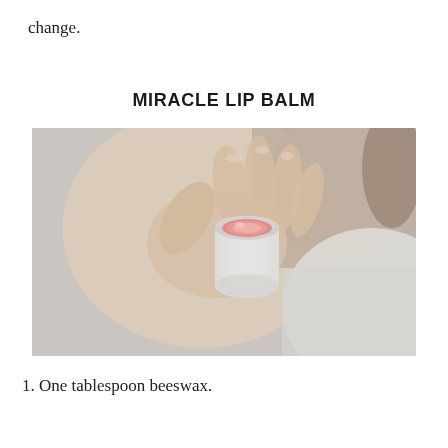change.
MIRACLE LIP BALM
[Figure (photo): A woman holding up a small round open lip balm container with pink/coral balm inside, seen from close up. The background shows her face softly blurred.]
1. One tablespoon beeswax.